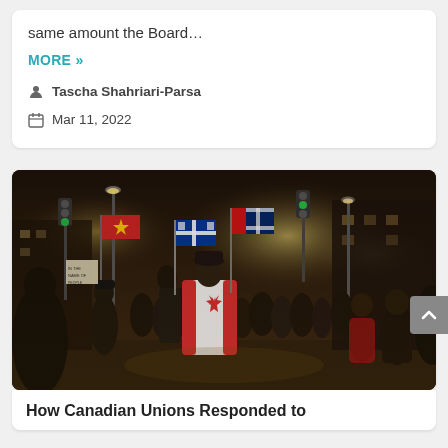same amount the Board…
MORE »
Tascha Shahriari-Parsa
Mar 11, 2022
[Figure (photo): Nighttime outdoor protest scene. People in winter clothes standing in a street. One person in the center is draped in a large Canadian flag. Others wave a Quebec flag, a red flag with a star, and an Ontario flag. Street lights and traffic lights glow. Buildings visible in the background. Protest signs visible on the left.]
How Canadian Unions Responded to